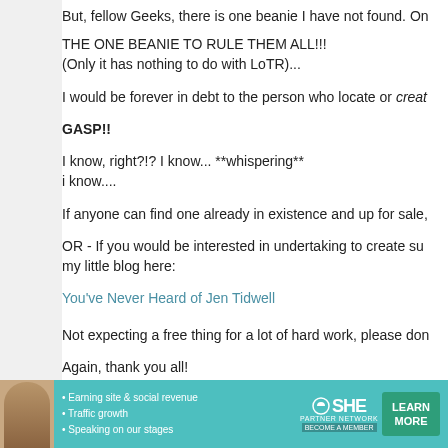But, fellow Geeks, there is one beanie I have not found. On...
THE ONE BEANIE TO RULE THEM ALL!!!
(Only it has nothing to do with LoTR)...
I would be forever in debt to the person who locate or creat...
GASP!!
I know, right?!? I know... **whispering**
i know....
If anyone can find one already in existence and up for sale,...
OR - If you would be interested in undertaking to create su...
my little blog here:
You've Never Heard of Jen Tidwell
Not expecting a free thing for a lot of hard work, please don...
Again, thank you all!
Reply
[Figure (infographic): SHE Partner Network advertisement banner with teal background, photo of a woman, bullet points about earning site & social revenue, traffic growth, speaking on our stages, SHE logo, and a Learn More button.]